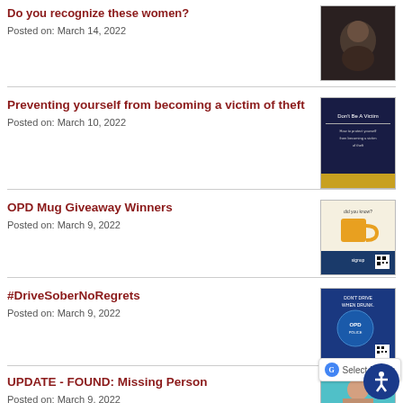Do you recognize these women? — Posted on: March 14, 2022
Preventing yourself from becoming a victim of theft — Posted on: March 10, 2022
OPD Mug Giveaway Winners — Posted on: March 9, 2022
#DriveSoberNoRegrets — Posted on: March 9, 2022
UPDATE - FOUND: Missing Person — Posted on: March 9, 2022